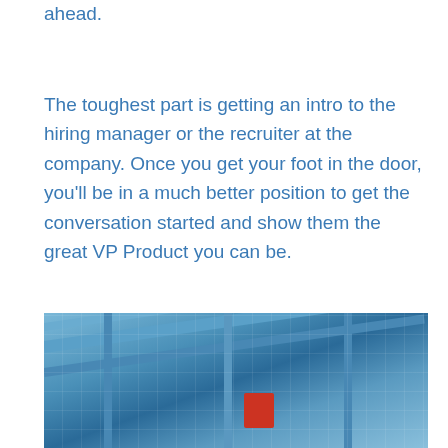ahead.
The toughest part is getting an intro to the hiring manager or the recruiter at the company. Once you get your foot in the door, you'll be in a much better position to get the conversation started and show them the great VP Product you can be.
[Figure (photo): Industrial scaffolding or metal framework structure with blue tones, close-up angled view showing metal bars and grid mesh.]